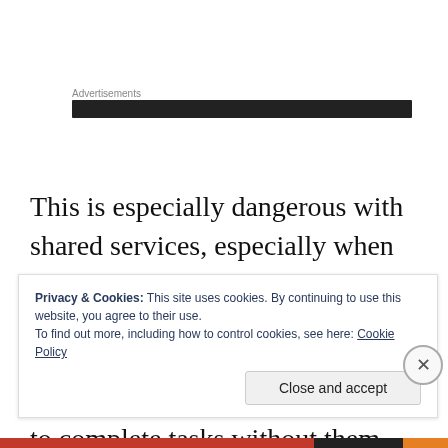Advertisements
This is especially dangerous with shared services, especially when you are responsible for the cost center, but not all of the work comes from your team.  Multiple bosses may be asking for a person to complete tasks without them
Privacy & Cookies: This site uses cookies. By continuing to use this website, you agree to their use.
To find out more, including how to control cookies, see here: Cookie Policy
Close and accept